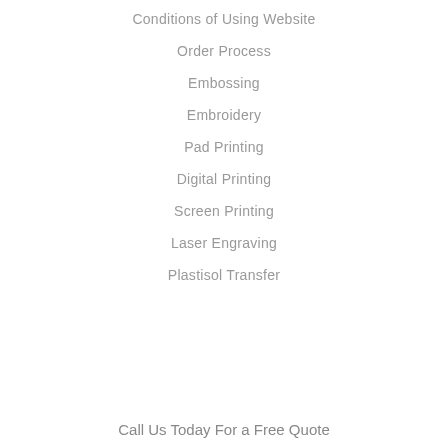Conditions of Using Website
Order Process
Embossing
Embroidery
Pad Printing
Digital Printing
Screen Printing
Laser Engraving
Plastisol Transfer
Call Us Today For a Free Quote